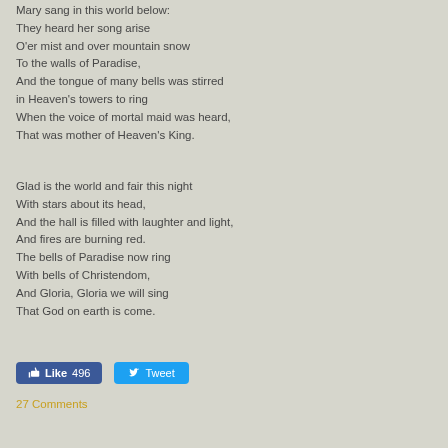Mary sang in this world below:
They heard her song arise
O'er mist and over mountain snow
To the walls of Paradise,
And the tongue of many bells was stirred
in Heaven's towers to ring
When the voice of mortal maid was heard,
That was mother of Heaven's King.
Glad is the world and fair this night
With stars about its head,
And the hall is filled with laughter and light,
And fires are burning red.
The bells of Paradise now ring
With bells of Christendom,
And Gloria, Gloria we will sing
That God on earth is come.
Like 496   Tweet
27 Comments